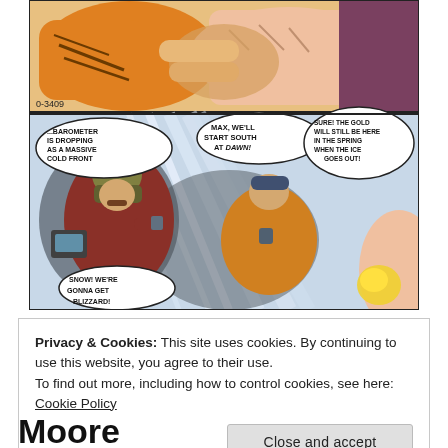[Figure (illustration): Comic book page showing two panels. Top panel: two hands shaking, one in orange glove, one bare, with code '0-3409' in bottom left. Bottom panel: winter/snowstorm scene with characters in cold-weather gear. Speech bubbles read: '...BAROMETER IS DROPPING AS A MASSIVE COLD FRONT MOVES ACROSS CANADA FROM THE POLAR ICE CAP! SNOW...', 'MAX, WE'LL START SOUTH AT DAWN!', 'SURE! THE GOLD WILL STILL BE HERE IN THE SPRING WHEN THE ICE GOES OUT!', 'SNOW! WE'RE GONNA GET BLIZZARD!']
Privacy & Cookies: This site uses cookies. By continuing to use this website, you agree to their use.
To find out more, including how to control cookies, see here:
Cookie Policy
Close and accept
Moore